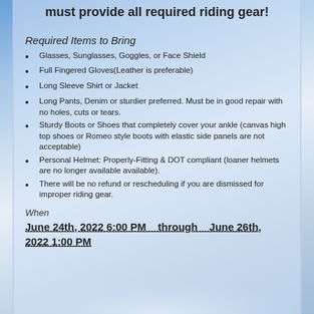must provide all required riding gear!
Required Items to Bring
Glasses, Sunglasses, Goggles, or Face Shield
Full Fingered Gloves(Leather is preferable)
Long Sleeve Shirt or Jacket
Long Pants, Denim or sturdier preferred. Must be in good repair with no holes, cuts or tears.
Sturdy Boots or Shoes that completely cover your ankle (canvas high top shoes or Romeo style boots with elastic side panels are not acceptable)
Personal Helmet: Properly-Fitting & DOT compliant (loaner helmets are no longer available available).
There will be no refund or rescheduling if you are dismissed for improper riding gear.
When
June 24th, 2022 6:00 PM   through   June 26th, 2022 1:00 PM